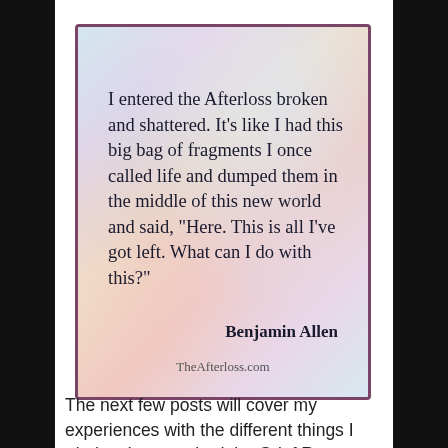[Figure (illustration): Quote card with pastel watercolor background and purple border. Text reads: I entered the Afterloss broken and shattered. It's like I had this big bag of fragments I once called life and dumped them in the middle of this new world and said, "Here. This is all I've got left. What can I do with this?" — Benjamin Allen. Website: TheAfterloss.com]
The next few posts will cover my experiences with the different things I tried as I researched the Grief Recovery Project. I've already written about my experiences with grief counseling, and that is still at the top of my list for being the most helpful. But